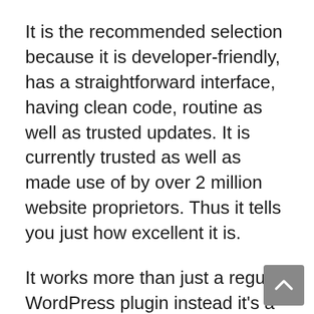It is the recommended selection because it is developer-friendly, has a straightforward interface, having clean code, routine as well as trusted updates. It is currently trusted as well as made use of by over 2 million website proprietors. Thus it tells you just how excellent it is.
It works more than just a regular WordPress plugin instead it's a framework. The full toolset includes convenience to WordPress website advancement.
As soon as you learn exactly how to utilize it, as well as it's very easy to collaborate with. It permits you to create gorgeous sites in a brief amount of time. It does not need searching, downloading and install